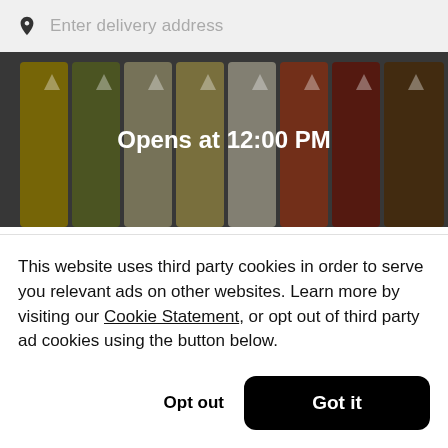Enter delivery address
[Figure (photo): Hero image of colorful tea drinks in cups with logos, overlaid with text 'Opens at 12:00 PM']
Opens at 12:00 PM
Mura Tea Shoppe
New
$
This website uses third party cookies in order to serve you relevant ads on other websites. Learn more by visiting our Cookie Statement, or opt out of third party ad cookies using the button below.
Opt out
Got it